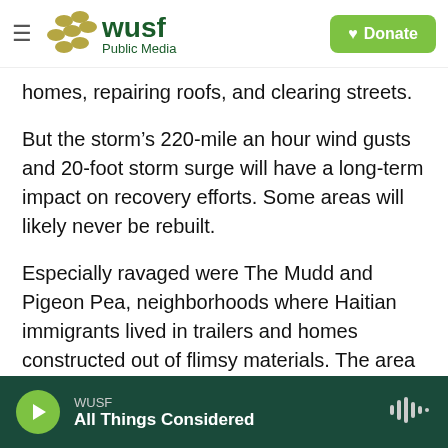WUSF Public Media | Donate
homes, repairing roofs, and clearing streets.
But the storm’s 220-mile an hour wind gusts and 20-foot storm surge will have a long-term impact on recovery efforts. Some areas will likely never be rebuilt.
Especially ravaged were The Mudd and Pigeon Pea, neighborhoods where Haitian immigrants lived in trailers and homes constructed out of flimsy materials. The area has been cleared of debris, but is fenced off. The Bahamian government is not allowing any new construction there.
WUSF
All Things Considered